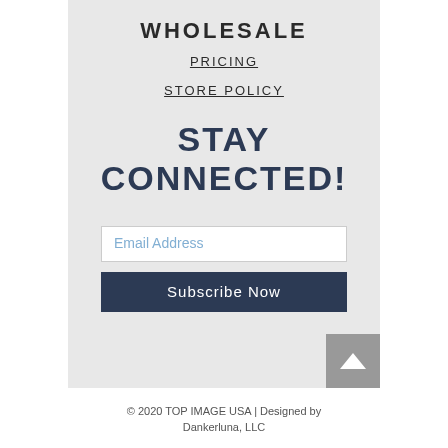WHOLESALE
PRICING
STORE POLICY
STAY CONNECTED!
Email Address
Subscribe Now
© 2020 TOP IMAGE USA | Designed by Dankerluna, LLC